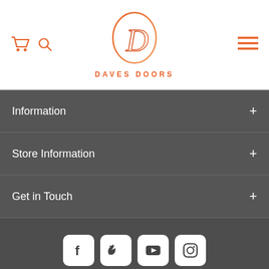[Figure (logo): Daves Doors logo - stylized D inside a circular swirl in orange/red gradient, with DAVES DOORS text below in orange]
Information
Store Information
Get in Touch
[Figure (infographic): Social media icons: Facebook, Twitter, YouTube, Instagram - white rounded square buttons]
[Figure (infographic): Payment method cards at bottom of page]